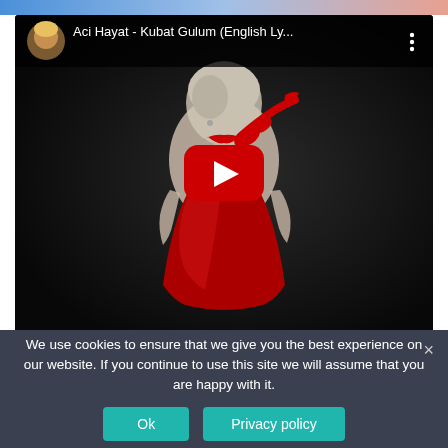[Figure (screenshot): YouTube video embed showing 'Aci Hayat - Kubat Gulum (English Ly...' with a thumbnail of a woman in a red dress on a dark background and a red play button in the center. The video header shows a circular avatar and video title with a three-dot menu icon.]
We use cookies to ensure that we give you the best experience on our website. If you continue to use this site we will assume that you are happy with it.
Ok
Privacy policy